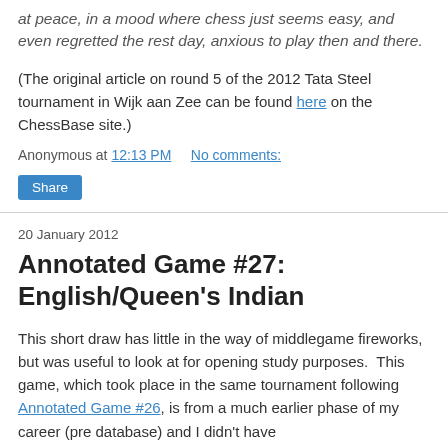at peace, in a mood where chess just seems easy, and even regretted the rest day, anxious to play then and there.
(The original article on round 5 of the 2012 Tata Steel tournament in Wijk aan Zee can be found here on the ChessBase site.)
Anonymous at 12:13 PM    No comments:
Share
20 January 2012
Annotated Game #27: English/Queen's Indian
This short draw has little in the way of middlegame fireworks, but was useful to look at for opening study purposes.  This game, which took place in the same tournament following Annotated Game #26, is from a much earlier phase of my career (pre database) and I didn't have